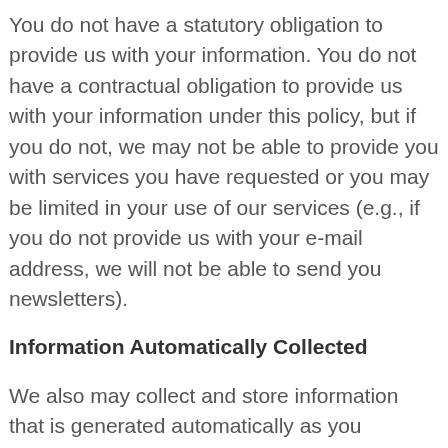You do not have a statutory obligation to provide us with your information. You do not have a contractual obligation to provide us with your information under this policy, but if you do not, we may not be able to provide you with services you have requested or you may be limited in your use of our services (e.g., if you do not provide us with your e-mail address, we will not be able to send you newsletters).
Information Automatically Collected
We also may collect and store information that is generated automatically as you navigate through our